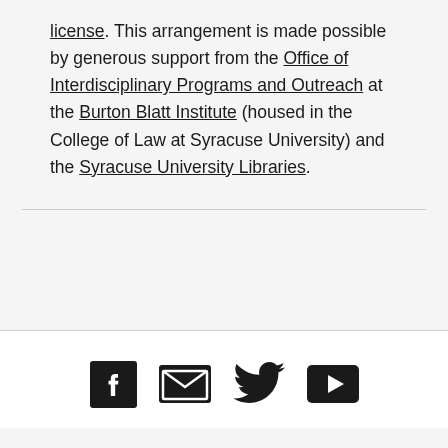license. This arrangement is made possible by generous support from the Office of Interdisciplinary Programs and Outreach at the Burton Blatt Institute (housed in the College of Law at Syracuse University) and the Syracuse University Libraries.
[Figure (other): Social media icons: Facebook, Email/envelope, Twitter, YouTube]